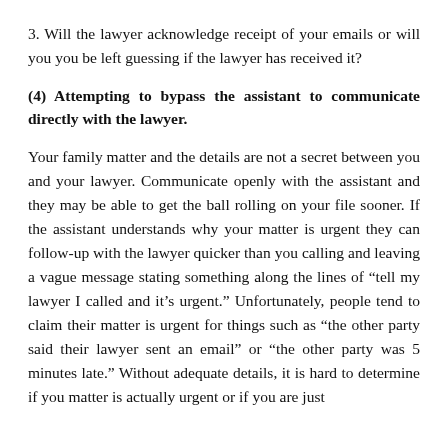3. Will the lawyer acknowledge receipt of your emails or will you you be left guessing if the lawyer has received it?
(4) Attempting to bypass the assistant to communicate directly with the lawyer.
Your family matter and the details are not a secret between you and your lawyer. Communicate openly with the assistant and they may be able to get the ball rolling on your file sooner. If the assistant understands why your matter is urgent they can follow-up with the lawyer quicker than you calling and leaving a vague message stating something along the lines of “tell my lawyer I called and it’s urgent.” Unfortunately, people tend to claim their matter is urgent for things such as “the other party said their lawyer sent an email” or “the other party was 5 minutes late.” Without adequate details, it is hard to determine if you matter is actually urgent or if you are just